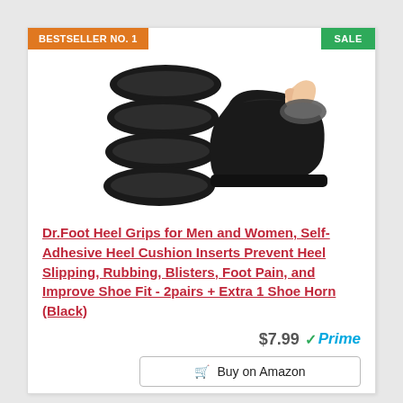BESTSELLER NO. 1
SALE
[Figure (photo): Product photo showing four black heel grip cushion inserts and a hand applying one to the heel of a black shoe.]
Dr.Foot Heel Grips for Men and Women, Self-Adhesive Heel Cushion Inserts Prevent Heel Slipping, Rubbing, Blisters, Foot Pain, and Improve Shoe Fit - 2pairs + Extra 1 Shoe Horn (Black)
$7.99 Prime
Buy on Amazon